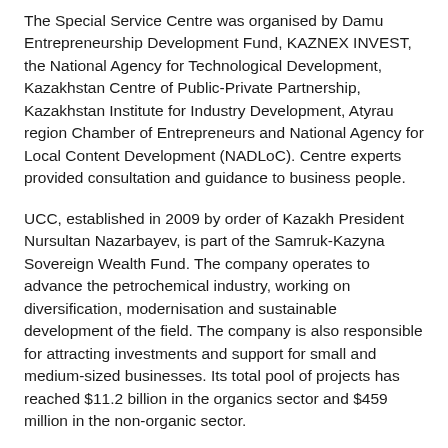The Special Service Centre was organised by Damu Entrepreneurship Development Fund, KAZNEX INVEST, the National Agency for Technological Development, Kazakhstan Centre of Public-Private Partnership, Kazakhstan Institute for Industry Development, Atyrau region Chamber of Entrepreneurs and National Agency for Local Content Development (NADLoC). Centre experts provided consultation and guidance to business people.
UCC, established in 2009 by order of Kazakh President Nursultan Nazarbayev, is part of the Samruk-Kazyna Sovereign Wealth Fund. The company operates to advance the petrochemical industry, working on diversification, modernisation and sustainable development of the field. The company is also responsible for attracting investments and support for small and medium-sized businesses. Its total pool of projects has reached $11.2 billion in the organics sector and $459 million in the non-organic sector.
Get The Astana Times stories sent directly to you! Sign up via the website or